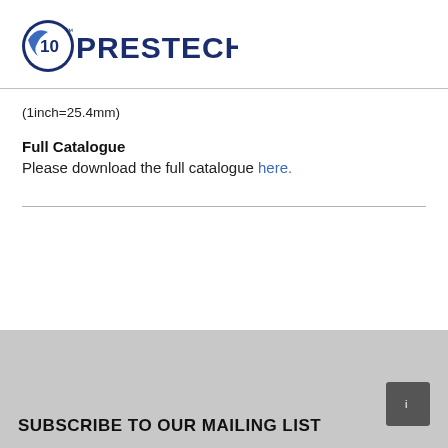[Figure (logo): Prestech company logo with '10' anniversary emblem and eagle graphic, dark blue text]
(1inch=25.4mm)
Full Catalogue
Please download the full catalogue here.
SUBSCRIBE TO OUR MAILING LIST